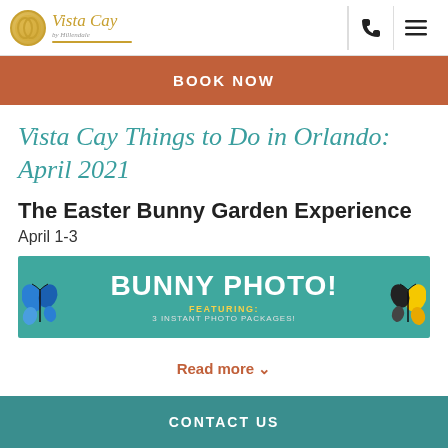[Figure (logo): Vista Cay by Hillendale logo with gold circular emblem and cursive text]
BOOK NOW
Vista Cay Things to Do in Orlando: April 2021
The Easter Bunny Garden Experience
April 1-3
[Figure (photo): Bunny Photo! banner on teal background featuring butterflies, text: FEATURING: 3 INSTANT PHOTO PACKAGES!]
Read more ∨
CONTACT US